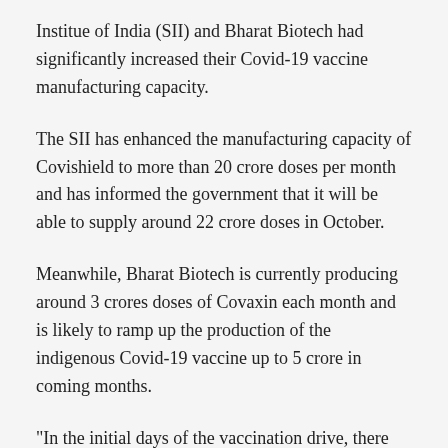Institue of India (SII) and Bharat Biotech had significantly increased their Covid-19 vaccine manufacturing capacity.
The SII has enhanced the manufacturing capacity of Covishield to more than 20 crore doses per month and has informed the government that it will be able to supply around 22 crore doses in October.
Meanwhile, Bharat Biotech is currently producing around 3 crores doses of Covaxin each month and is likely to ramp up the production of the indigenous Covid-19 vaccine up to 5 crore in coming months.
"In the initial days of the vaccination drive, there was requirement of jabs, but that has been met with the